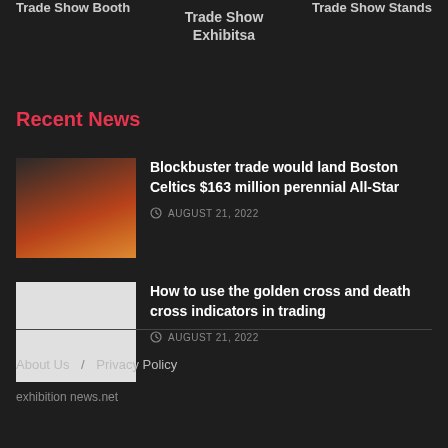Trade Show Booth
Trade Show Exhibitsa
Trade Show Stands
Recent News
Blockbuster trade would land Boston Celtics $163 million perennial All-Star
AUGUST 21, 2022
How to use the golden cross and death cross indicators in trading
AUGUST 21, 2022
About Us / Privacy Policy
exhibition news.net